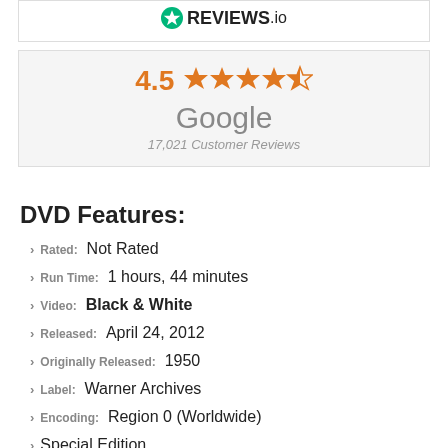[Figure (logo): REVIEWS.io logo with green star icon]
4.5 ★★★★½ Google 17,021 Customer Reviews
DVD Features:
Rated: Not Rated
Run Time: 1 hours, 44 minutes
Video: Black & White
Released: April 24, 2012
Originally Released: 1950
Label: Warner Archives
Encoding: Region 0 (Worldwide)
Special Edition
Aspect Ratio: Full Frame - 1.37
Audio:
English